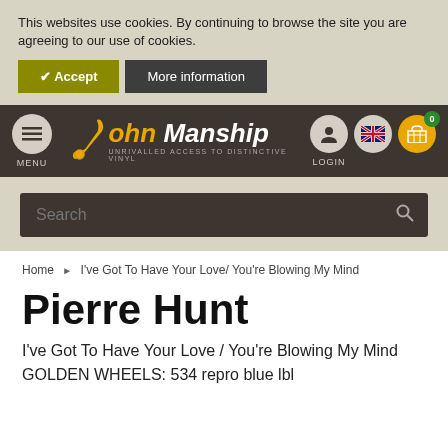This websites use cookies. By continuing to browse the site you are agreeing to our use of cookies.
✔ Accept  More information
[Figure (logo): John Manship logo with saxophone graphic. Text: John Manship, UNRIVALLED ACCESS TO DISTINCTIVE VINYL. Navigation includes MENU button, login icon, UK flag icon, and basket icon with badge showing 0.]
Search
Home ▶ I've Got To Have Your Love/ You're Blowing My Mind
Pierre Hunt
I've Got To Have Your Love / You're Blowing My Mind
GOLDEN WHEELS: 534 repro blue lbl